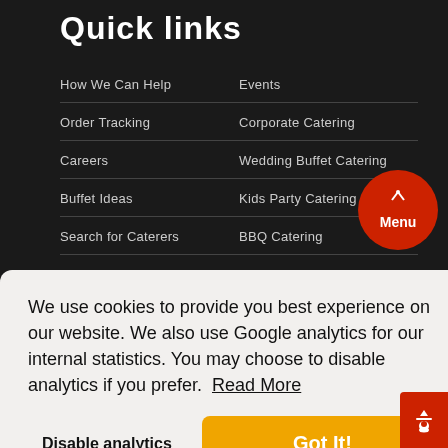Quick links
How We Can Help
Events
Order Tracking
Corporate Catering
Careers
Wedding Buffet Catering
Buffet Ideas
Kids Party Catering
Search for Caterers
BBQ Catering
How it Works
Valentines Catering
We use cookies to provide you best experience on our website. We also use Google analytics for our internal statistics. You may choose to disable analytics if you prefer. Read More
Catering Equipment Hire
Catering Furniture Hire